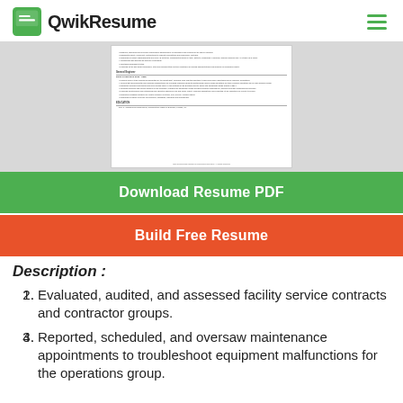QwikResume
[Figure (screenshot): A thumbnail preview of a resume document showing sections for General Engineer and Education with bullet points and small text.]
Download Resume PDF
Build Free Resume
Description :
Evaluated, audited, and assessed facility service contracts and contractor groups.
Reported, scheduled, and oversaw maintenance appointments to troubleshoot equipment malfunctions for the operations group.